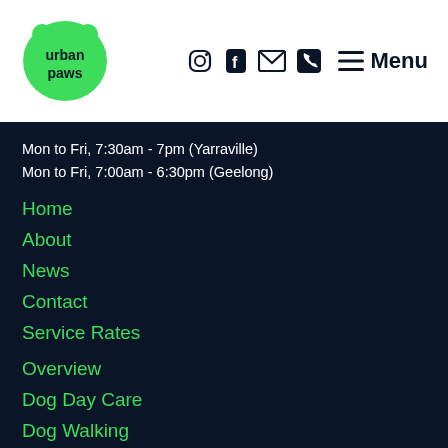urban paws — navigation header with logo, social icons, and menu
Mon to Fri, 7:30am - 7pm (Yarraville)
Mon to Fri, 7:00am - 6:30pm (Geelong)
Home
About
News
Contact
Service Rates
Overview
Dog Day Care
Dog Walking
Pet Sitting